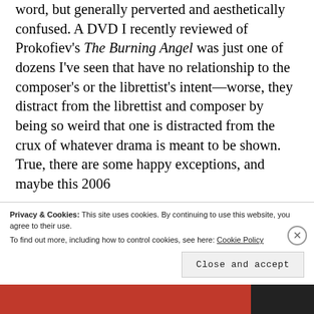word, but generally perverted and aesthetically confused. A DVD I recently reviewed of Prokofiev's The Burning Angel was just one of dozens I've seen that have no relationship to the composer's or the librettist's intent—worse, they distract from the librettist and composer by being so weird that one is distracted from the crux of whatever drama is meant to be shown. True, there are some happy exceptions, and maybe this 2006
Privacy & Cookies: This site uses cookies. By continuing to use this website, you agree to their use.
To find out more, including how to control cookies, see here: Cookie Policy
Close and accept